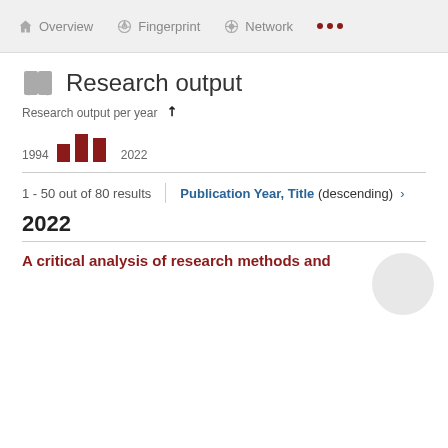Overview  Fingerprint  Network  ...
Research output
[Figure (bar-chart): Small bar chart showing research output from 1994 to 2022 with dark red bars]
1 - 50 out of 80 results
Publication Year, Title (descending) >
2022
A critical analysis of research methods and